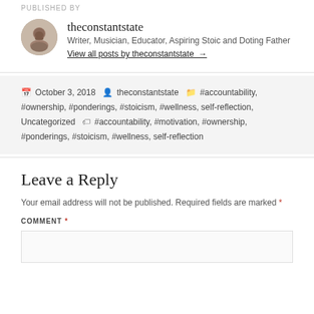PUBLISHED BY
[Figure (photo): Circular avatar photo of theconstantstate author, a man with short beard]
theconstantstate
Writer, Musician, Educator, Aspiring Stoic and Doting Father
View all posts by theconstantstate →
October 3, 2018  theconstantstate  #accountability, #ownership, #ponderings, #stoicism, #wellness, self-reflection, Uncategorized  #accountability, #motivation, #ownership, #ponderings, #stoicism, #wellness, self-reflection
Leave a Reply
Your email address will not be published. Required fields are marked *
COMMENT *